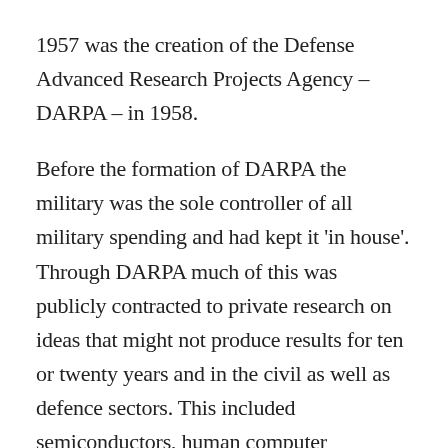1957 was the creation of the Defense Advanced Research Projects Agency – DARPA – in 1958.
Before the formation of DARPA the military was the sole controller of all military spending and had kept it 'in house'. Through DARPA much of this was publicly contracted to private research on ideas that might not produce results for ten or twenty years and in the civil as well as defence sectors. This included semiconductors, human computer interface, touchscreen technology vital for Apple, and the early stages of the internet, Google-s algorithm, biotechnology and, later, nanotechnology. An outcome was that